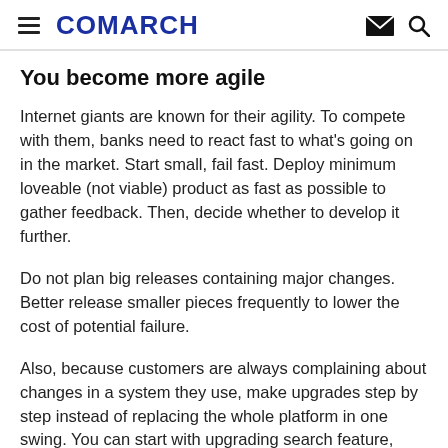COMARCH
You become more agile
Internet giants are known for their agility. To compete with them, banks need to react fast to what's going on in the market. Start small, fail fast. Deploy minimum loveable (not viable) product as fast as possible to gather feedback. Then, decide whether to develop it further.
Do not plan big releases containing major changes. Better release smaller pieces frequently to lower the cost of potential failure.
Also, because customers are always complaining about changes in a system they use, make upgrades step by step instead of replacing the whole platform in one swing. You can start with upgrading search feature, changing operations history module or adding new product